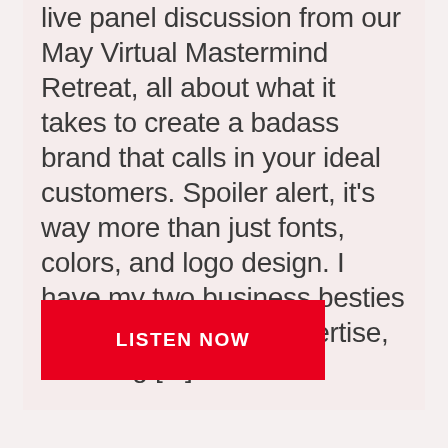live panel discussion from our May Virtual Mastermind Retreat, all about what it takes to create a badass brand that calls in your ideal customers. Spoiler alert, it’s way more than just fonts, colors, and logo design. I have my two business besties here to share their expertise, branding [...]
LISTEN NOW